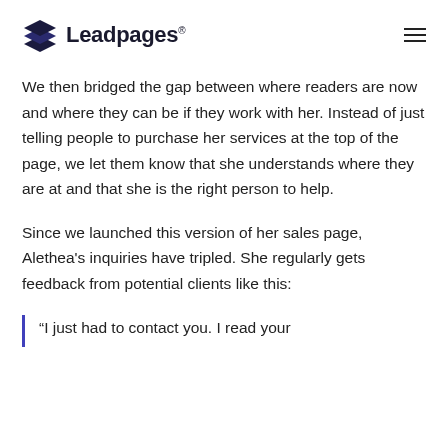Leadpages®
We then bridged the gap between where readers are now and where they can be if they work with her. Instead of just telling people to purchase her services at the top of the page, we let them know that she understands where they are at and that she is the right person to help.
Since we launched this version of her sales page, Alethea's inquiries have tripled. She regularly gets feedback from potential clients like this:
“I just had to contact you. I read your